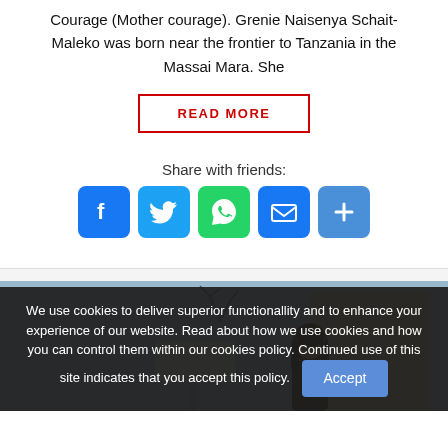Courage (Mother courage). Grenie Naisenya Schait-Maleko was born near the frontier to Tanzania in the Massai Mara. She
READ MORE
Share with friends:
[Figure (infographic): Social share buttons: Facebook, Twitter, WhatsApp, Email, Share]
[Figure (photo): Photo of a smiling woman in front of a building with bare trees in the background]
We use cookies to deliver superior functionallity and to enhance your experience of our website. Read about how we use cookies and how you can control them within our cookies policy. Continued use of this site indicates that you accept this policy. Accept